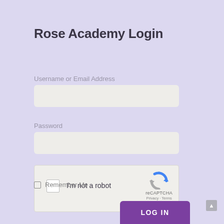Rose Academy Login
Username or Email Address
[Figure (screenshot): Empty text input field for username or email address]
Password
[Figure (screenshot): Empty text input field for password]
[Figure (screenshot): reCAPTCHA widget with checkbox labeled 'I'm not a robot' and reCAPTCHA logo with Privacy and Terms links]
Remember Me
LOG IN